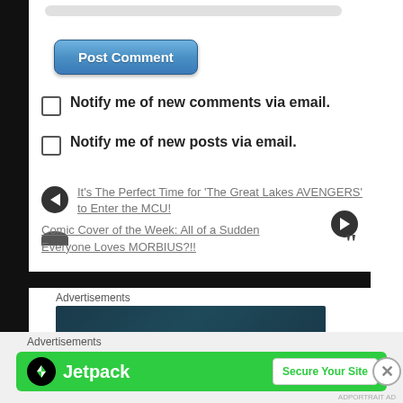[Figure (screenshot): Post Comment button - rounded blue gradient button]
Notify me of new comments via email.
Notify me of new posts via email.
It's The Perfect Time for 'The Great Lakes AVENGERS' to Enter the MCU!
Comic Cover of the Week: All of a Sudden Everyone Loves MORBIUS?!!
Advertisements
Advertisements
[Figure (screenshot): Jetpack advertisement banner - green background with Jetpack logo and Secure Your Site button]